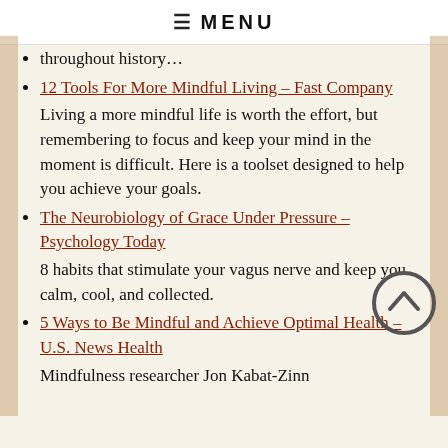≡ MENU
throughout history…
12 Tools For More Mindful Living – Fast Company
Living a more mindful life is worth the effort, but remembering to focus and keep your mind in the moment is difficult. Here is a toolset designed to help you achieve your goals.
The Neurobiology of Grace Under Pressure – Psychology Today
8 habits that stimulate your vagus nerve and keep you calm, cool, and collected.
5 Ways to Be Mindful and Achieve Optimal Health – U.S. News Health
Mindfulness researcher Jon Kabat-Zinn